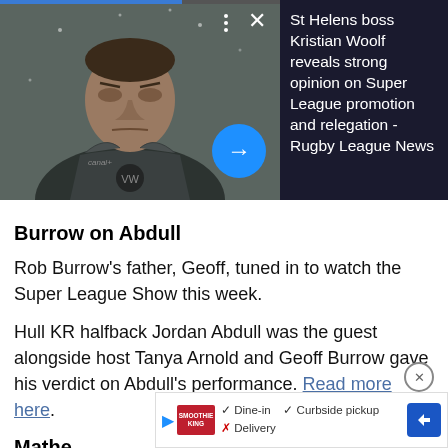[Figure (screenshot): Video thumbnail showing a rugby coach in a dark jacket, with a blue progress bar at top. Overlay shows three dots menu and X close button, plus a blue circular arrow/play button at bottom right.]
St Helens boss Kristian Woolf reveals strong opinion on Super League promotion and relegation - Rugby League News
Burrow on Abdull
Rob Burrow's father, Geoff, tuned in to watch the Super League Show this week.
Hull KR halfback Jordan Abdull was the guest alongside host Tanya Arnold and Geoff Burrow gave his verdict on Abdull's performance. Read more here.
Mathe
[Figure (screenshot): Advertisement overlay showing Smoothie King logo with Dine-in, Curbside pickup, Delivery options and navigation arrow icon.]